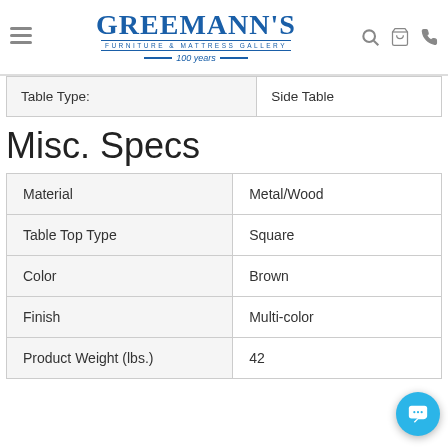Greemann's Furniture & Mattress Gallery — 100 years
| Table Type: | Side Table |
| --- | --- |
Misc. Specs
| Material | Metal/Wood |
| Table Top Type | Square |
| Color | Brown |
| Finish | Multi-color |
| Product Weight (lbs.) | 42 |